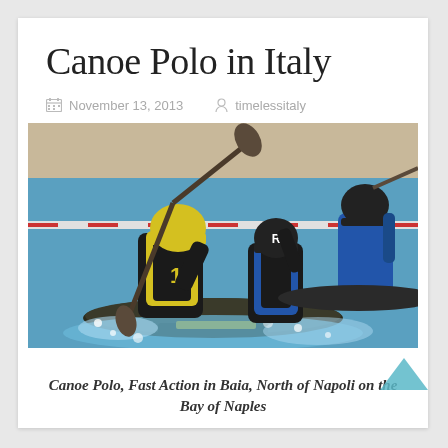Canoe Polo in Italy
November 13, 2013   timelessitaly
[Figure (photo): Action photo of canoe polo players in kayaks competing in a pool. One player in a yellow helmet and black vest numbered 1 paddles a dark kayak with a yellow stripe. Another player in a black helmet and blue vest is nearby. A third player in a black helmet and blue jersey is visible in the background on the right. Water is splashing around the kayaks.]
Canoe Polo, Fast Action in Baia, North of Napoli on the Bay of Naples